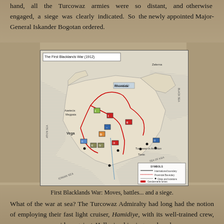hand, all the Turcowaz armies were so distant, and otherwise engaged, a siege was clearly indicated. So the newly appointed Major-General Iskander Bogotan ordered.
[Figure (map): Map titled 'The First Blacklands War (1912)' showing military moves, battles, and a siege with colored unit markers and movement arrows across a region including labeled areas: Zelema, Rhombda, Aaetecia Megpata, Vega, Turcowaz in Anselton, and various seas (Atkin Sea, Ionian Sea, Black Sea).]
First Blacklands War: Moves, battles... and a siege.
What of the war at sea? The Turcowaz Admiralty had long had the notion of employing their fast light cruiser, Hamidiye, with its well-trained crew, as a commerce raider against Hellenic shipping, and perhaps as an ever present preventive against Hellenic descents upon Turcowaz coastal towns. Although the blockade had officially been broken, and